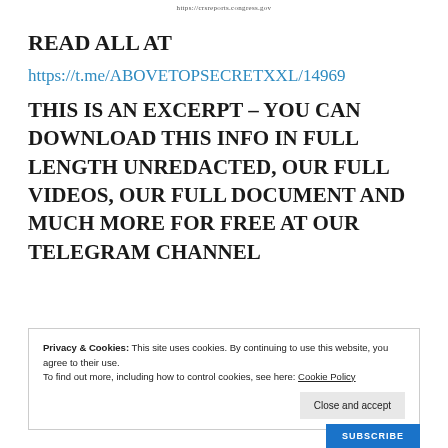https://crsreports.congress.gov
READ ALL AT
https://t.me/ABOVETOPSECRETXXL/14969
THIS IS AN EXCERPT – YOU CAN DOWNLOAD THIS INFO IN FULL LENGTH UNREDACTED, OUR FULL VIDEOS, OUR FULL DOCUMENT AND MUCH MORE FOR FREE AT OUR TELEGRAM CHANNEL
Privacy & Cookies: This site uses cookies. By continuing to use this website, you agree to their use.
To find out more, including how to control cookies, see here: Cookie Policy
Close and accept
SUBSCRIBE